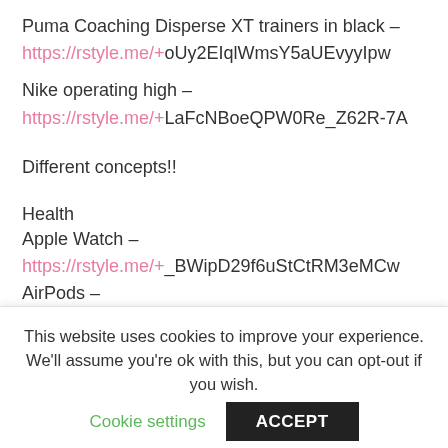Puma Coaching Disperse XT trainers in black –
https://rstyle.me/+oUy2EIqlWmsY5aUEvyyIpw
Nike operating high –
https://rstyle.me/+LaFcNBoeQPW0Re_Z62R-7A
Different concepts!!
Health
Apple Watch –
https://rstyle.me/+_BWipD29f6uStCtRM3eMCw
AirPods – https://rstyle.me/+ZB690lqA42uXF3Q6l3uqpw
Skincare
This website uses cookies to improve your experience. We'll assume you're ok with this, but you can opt-out if you wish.
Cookie settings
ACCEPT